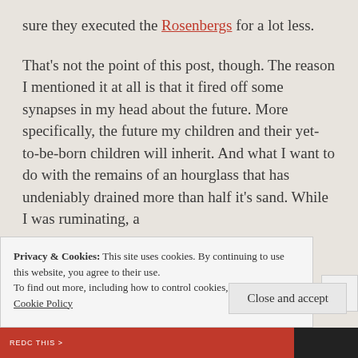sure they executed the Rosenbergs for a lot less.
That's not the point of this post, though. The reason I mentioned it at all is that it fired off some synapses in my head about the future. More specifically, the future my children and their yet-to-be-born children will inherit. And what I want to do with the remains of an hourglass that has undeniably drained more than half it's sand. While I was ruminating, a
Privacy & Cookies: This site uses cookies. By continuing to use this website, you agree to their use.
To find out more, including how to control cookies, see here: Cookie Policy
Close and accept